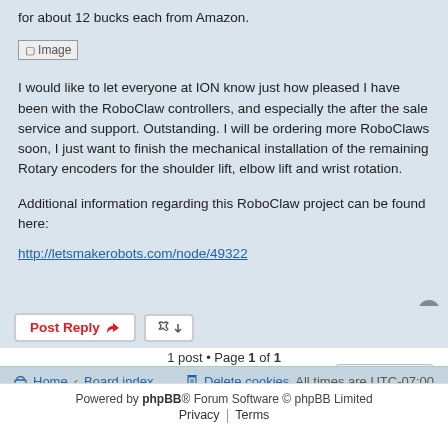for about 12 bucks each from Amazon.
[Figure (photo): Image placeholder (broken image icon)]
I would like to let everyone at ION know just how pleased I have been with the RoboClaw controllers, and especially the after the sale service and support. Outstanding. I will be ordering more RoboClaws soon, I just want to finish the mechanical installation of the remaining Rotary encoders for the shoulder lift, elbow lift and wrist rotation.
Additional information regarding this RoboClaw project can be found here:
http://letsmakerobots.com/node/49322
1 post • Page 1 of 1
Home · Board index   Delete cookies   All times are UTC-07:00
Powered by phpBB® Forum Software © phpBB Limited  Privacy | Terms